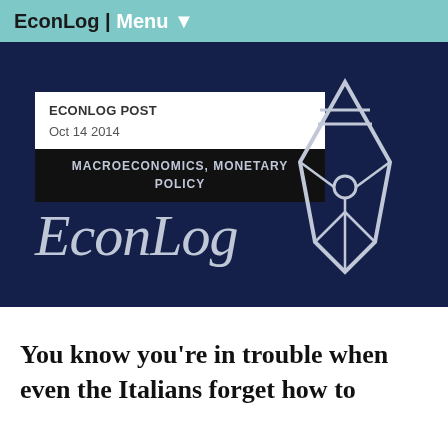EconLog | Menu ▼
[Figure (logo): EconLog banner with dark navy background, post info box showing 'ECONLOG POST Oct 14 2014', category label 'MACROECONOMICS, MONETARY POLICY', EconLog italic serif logo text, and a pen nib icon on the right]
You know you're in trouble when even the Italians forget how to